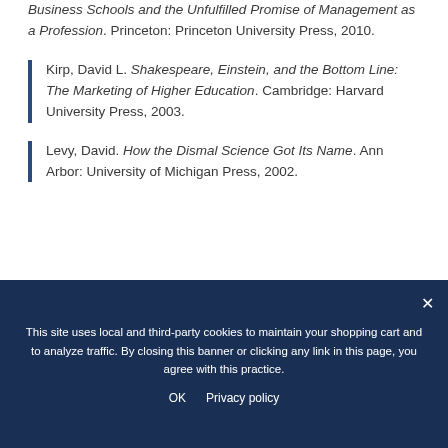Business Schools and the Unfulfilled Promise of Management as a Profession. Princeton: Princeton University Press, 2010.
Kirp, David L. Shakespeare, Einstein, and the Bottom Line: The Marketing of Higher Education. Cambridge: Harvard University Press, 2003.
Levy, David. How the Dismal Science Got Its Name. Ann Arbor: University of Michigan Press, 2002.
This site uses local and third-party cookies to maintain your shopping cart and to analyze traffic. By closing this banner or clicking any link in this page, you agree with this practice.
OK   Privacy policy